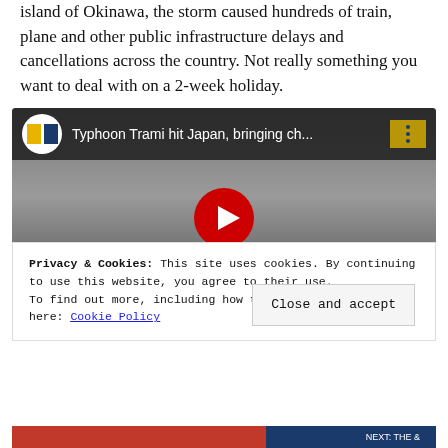island of Okinawa, the storm caused hundreds of train, plane and other public infrastructure delays and cancellations across the country. Not really something you want to deal with on a 2-week holiday.
[Figure (screenshot): Embedded YouTube video showing 'Typhoon Trami hit Japan, bringing ch...' with a play button and cookie consent overlay reading: Privacy & Cookies: This site uses cookies. By continuing to use this website, you agree to their use. To find out more, including how to control cookies, see here: Cookie Policy. With a 'Close and accept' button.]